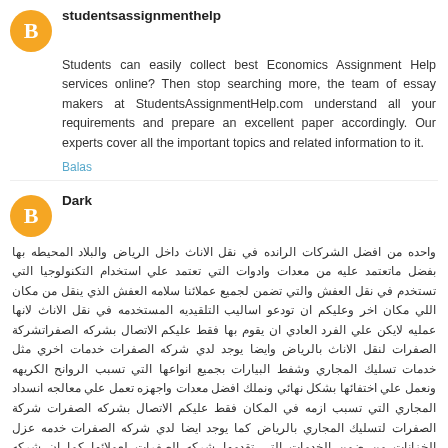[Figure (logo): Orange circle avatar with letter B for studentsassignmenthelp]
studentsassignmenthelp
Students can easily collect best Economics Assignment Help services online? Then stop searching more, the team of essay makers at StudentsAssignmentHelp.com understand all your requirements and prepare an excellent paper accordingly. Our experts cover all the important topics and related information to it.
Balas
[Figure (logo): Orange circle avatar with letter B for Dark]
Dark
واحده من افضل الشركات الرانده في نقل الاناث داخل الرياض والبلاد المحيطه بها بفضل ماتعتمد عليه من معدات وادوات التي تعتمد علي استخدام التكنولوجيا التي تستخدم في نقل العفش والتي تضمن لجميع عملائنا سلامه العفش الذي ينقل من مكان اللي مكان اخر وعليكم ان تودعو اساليب التلقيديه المستخدمه في نقل الاناث لانها عمليه لايكن علي الفرد العادي ان يقوم بها فقط عليكم الاتصال بشركه الصفراتشركة الصفرات لنقل الاناث بالرياض وايضا يوجد لدي شركه الصفرات خدمات اخري مثل خدمات تسليك المجاري وشفط البيارات بجميع انواعها التي تسبب الروانح الكريهه ونعمل علي اختفائها بشكل نهائي ونملك افضل معدات واجهزه تعمل علي معالجه انسداد المجاري التي تسبب ازمه في المكان فقط عليكم الاتصال بشركه الصفرات شركة الصفرات لتسليك المجاري بالرياض كما يوجد ايضا لدي شركه الصفرات خدمه عزل الخزانات من ضمن الخدمات التي تقدمها شركه الصفرات لعملائها كما ان شركه الصفرات تعتبر افضل شركه للخدمات المنزليه وعزل ولحام الخزانات في الرياض وجميع مدن الممكله من خلال ما تملكه من معدات واجهزه متخصصه في المجال وافراد